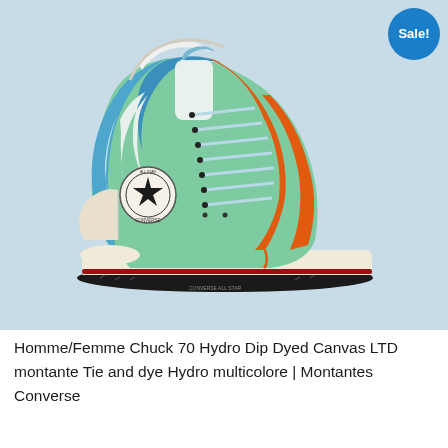[Figure (photo): A Converse Chuck 70 high-top sneaker with colorful hydro dip dyed canvas in swirling blue, green, orange, and white patterns, shown on a light blue background. A circular 'Sale!' badge in blue is in the top right corner.]
Homme/Femme Chuck 70 Hydro Dip Dyed Canvas LTD montante Tie and dye Hydro multicolore | Montantes Converse